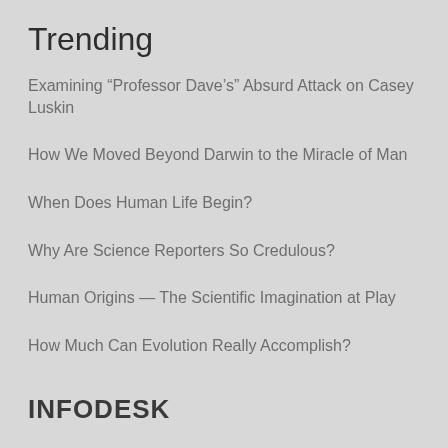Trending
Examining “Professor Dave’s” Absurd Attack on Casey Luskin
How We Moved Beyond Darwin to the Miracle of Man
When Does Human Life Begin?
Why Are Science Reporters So Credulous?
Human Origins — The Scientific Imagination at Play
How Much Can Evolution Really Accomplish?
INFODESK